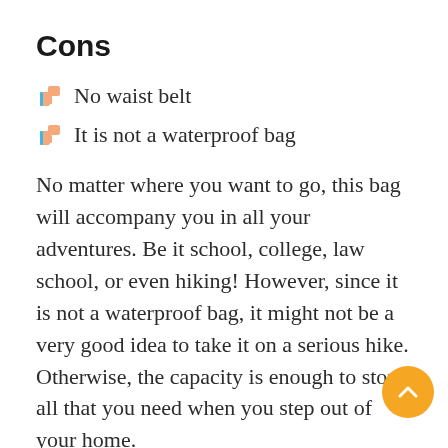Cons
No waist belt
It is not a waterproof bag
No matter where you want to go, this bag will accompany you in all your adventures. Be it school, college, law school, or even hiking! However, since it is not a waterproof bag, it might not be a very good idea to take it on a serious hike. Otherwise, the capacity is enough to store all that you need when you step out of your home.